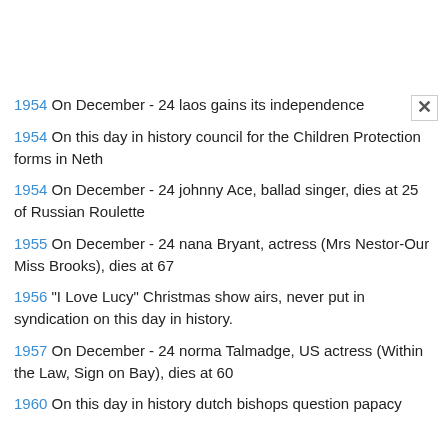1954  On December - 24 laos gains its independence
1954  On this day in history council for the Children Protection forms in Neth
1954  On December - 24 johnny Ace, ballad singer, dies at 25 of Russian Roulette
1955  On December - 24 nana Bryant, actress (Mrs Nestor-Our Miss Brooks), dies at 67
1956  "I Love Lucy" Christmas show airs, never put in syndication on this day in history.
1957  On December - 24 norma Talmadge, US actress (Within the Law, Sign on Bay), dies at 60
1960  On this day in history dutch bishops question papacy